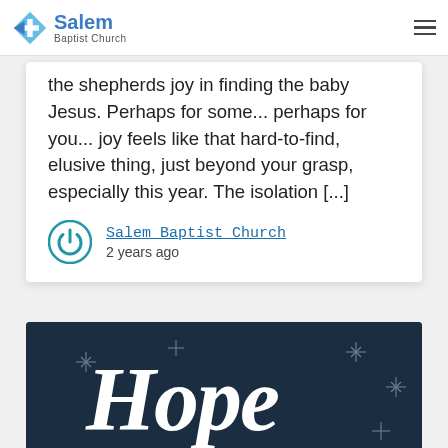Salem Baptist Church
the shepherds joy in finding the baby Jesus. Perhaps for some... perhaps for you... joy feels like that hard-to-find, elusive thing, just beyond your grasp, especially this year. The isolation [...]
Salem Baptist Church
2 years ago
[Figure (photo): Dark blue background with white script text reading 'Hope' and decorative star/cross sparkles]